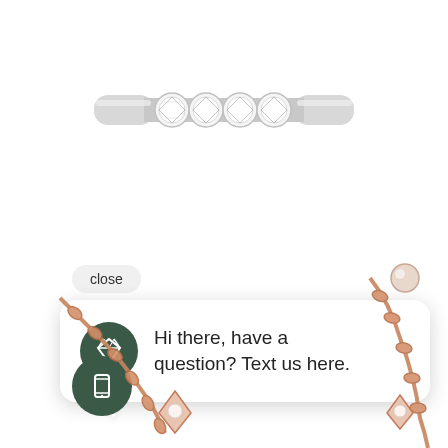[Figure (photo): A white gold diamond band ring with five round brilliant diamonds set in the center, viewed from above against a white background.]
close
HEARTS ON FIRE
Hi there, have a question? Text us here.
[Figure (photo): Rose gold chain necklace with diamond-set pendants, partially visible at the bottom of the page.]